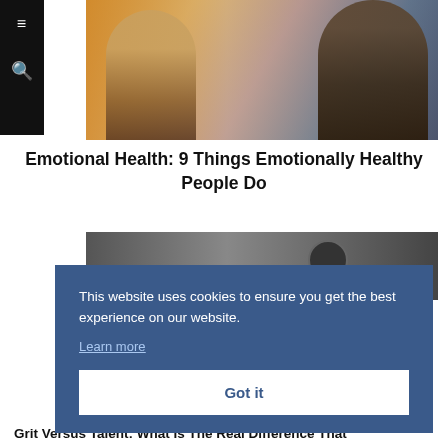[Figure (photo): Two people smiling outdoors with warm golden light, one person laughing and the other leaning in, wearing casual clothes]
Emotional Health: 9 Things Emotionally Healthy People Do
[Figure (photo): Partial view of a second article with a dark gray background and a circular avatar icon visible]
This website uses cookies to ensure you get the best experience on our website.
Learn more
Got it
Grit Versus Talent: What Is The Real Difference That